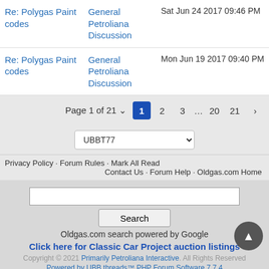| Topic | Forum | Date |
| --- | --- | --- |
| Re: Polygas Paint codes | General Petroliana Discussion | Sat Jun 24 2017 09:46 PM |
| Re: Polygas Paint codes | General Petroliana Discussion | Mon Jun 19 2017 09:40 PM |
Page 1 of 21  1  2  3  ...  20  21  ›
UBBT77
Privacy Policy · Forum Rules · Mark All Read
Contact Us · Forum Help · Oldgas.com Home
Oldgas.com search powered by Google
Click here for Classic Car Project auction listings
Copyright © 2021 Primarily Petroliana Interactive. All Rights Reserved
Powered by UBB.threads™ PHP Forum Software 7.7.4